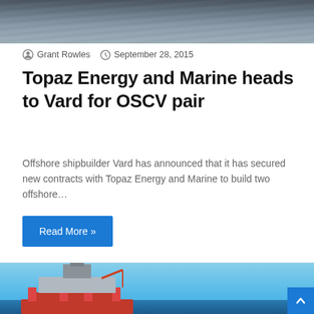[Figure (photo): Top portion of an offshore vessel or sea scene, dark water background (cropped)]
Grant Rowles   September 28, 2015
Topaz Energy and Marine heads to Vard for OSCV pair
Offshore shipbuilder Vard has announced that it has secured new contracts with Topaz Energy and Marine to build two offshore…
Read More »
[Figure (photo): Offshore oil drilling rig/platform with red hull floating in blue ocean water under clear blue sky]